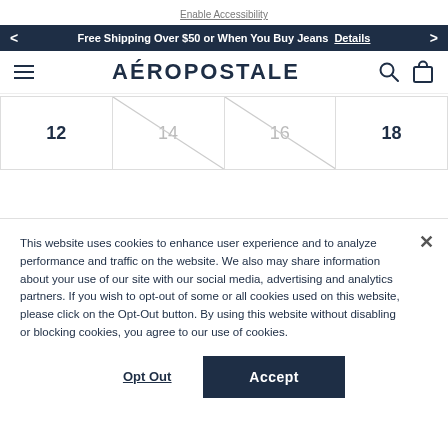Enable Accessibility
Free Shipping Over $50 or When You Buy Jeans  Details
AÉROPOSTALE
[Figure (screenshot): Size selector grid showing sizes 12, 14, 16, 18. Sizes 14 and 16 are shown with diagonal strikethrough lines indicating unavailability.]
This website uses cookies to enhance user experience and to analyze performance and traffic on the website. We also may share information about your use of our site with our social media, advertising and analytics partners. If you wish to opt-out of some or all cookies used on this website, please click on the Opt-Out button. By using this website without disabling or blocking cookies, you agree to our use of cookies.
Opt Out
Accept